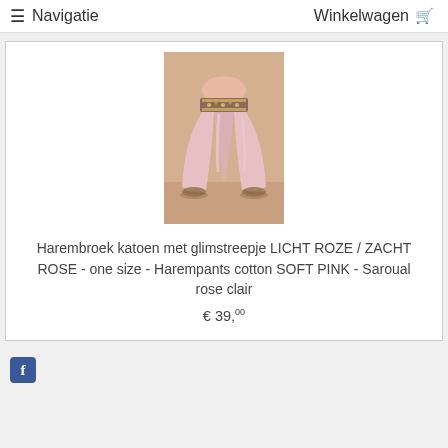≡ Navigatie   Winkelwagen 🛒
[Figure (photo): Photo of a person wearing pink harem pants (harembroek) with a decorative embellished waistband, light rose/soft pink color, full length shot showing the baggy trousers]
Harembroek katoen met glimstreepje LICHT ROZE / ZACHT ROSE - one size - Harempants cotton SOFT PINK - Saroual rose clair
€ 39,00